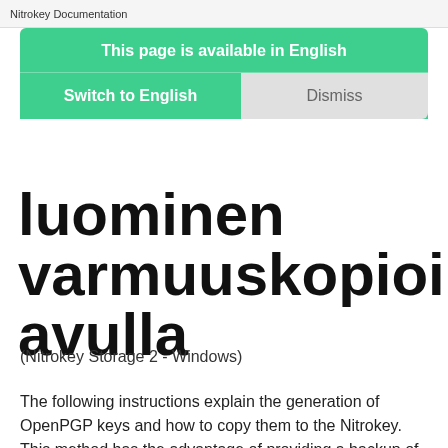Nitrokey Documentation
This page is available in English
Switch to English   Dismiss
luominen varmuuskopioinnin avulla
(Nitrokey Storage 2 - Windows)
The following instructions explain the generation of OpenPGP keys and how to copy them to the Nitrokey. This method has the advantage of providing a backup of the keys in case of losing or